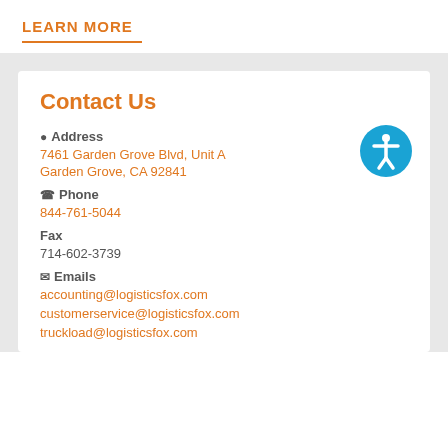LEARN MORE
Contact Us
Address
7461 Garden Grove Blvd, Unit A
Garden Grove, CA 92841
Phone
844-761-5044
Fax
714-602-3739
Emails
accounting@logisticsfox.com
customerservice@logisticsfox.com
truckload@logisticsfox.com